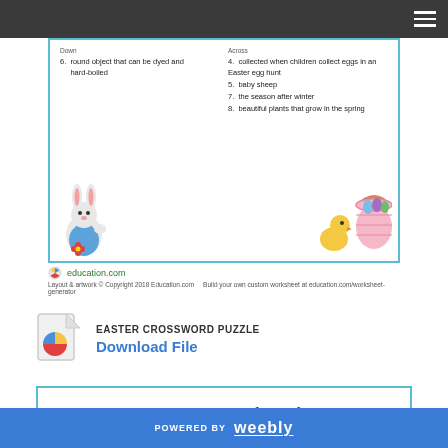Navigation bar with hamburger menu
[Figure (illustration): Easter crossword puzzle worksheet showing clues. Left column clue 6: round object that can be dyed and hard-boiled. Right column clues: 4. collected when children collect eggs in an Easter egg hunt, 5. baby sheep, 7. the season after winter, 8. beautiful plants that grow in the spring. Bottom of worksheet shows a bunny illustration on the left and a basket with chick on the right. Education.com logo and copyright footer below the worksheet.]
EASTER CROSSWORD PUZZLE
Download File
Easter Crossword Puzzle
POWERED BY weebly